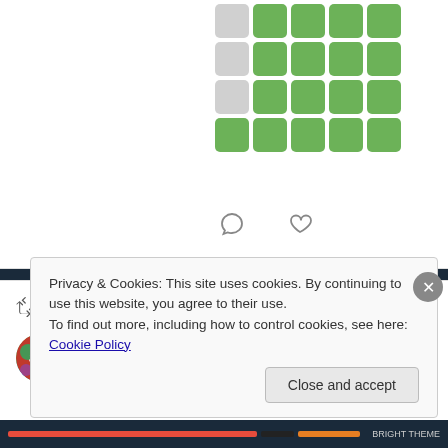[Figure (other): A grid of colored squares (green and gray) arranged in 4 rows and 5 columns, with some gray cells in the top-left area. Part of a social media/blog page screenshot.]
Aria @ Aiming for Jakurai Chara Rank 30 (90%) Retweeted
ヒプノシスマイク-D.R.B-(... @hypno... · Aug 20
"8.21
HAPPY BIRTHDAY
Privacy & Cookies: This site uses cookies. By continuing to use this website, you agree to their use.
To find out more, including how to control cookies, see here: Cookie Policy
Close and accept